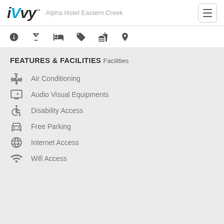iVvy - Alpha Hotel Eastern Creek
FEATURES & FACILITIES
Facilities
Air Conditioning
Audio Visual Equipments
Disability Access
Free Parking
Internet Access
Wifi Access